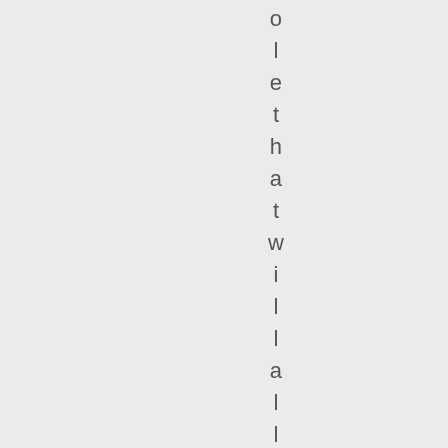o l e t h a t w i l l a l l o w